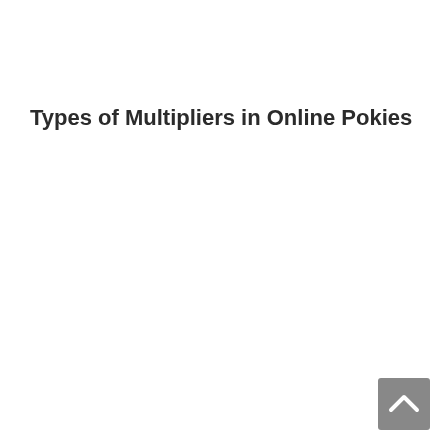Types of Multipliers in Online Pokies
[Figure (other): Back to top button — a small gray square with an upward-pointing chevron arrow, positioned in the bottom-right corner of the page.]